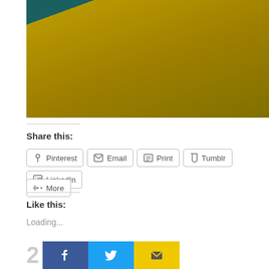[Figure (photo): Close-up blurred photo showing teal/dark fabric at top and large yellow/olive colored surface below]
Share this:
Pinterest  Email  Print  Tumblr  LinkedIn  More
Like this:
Loading...